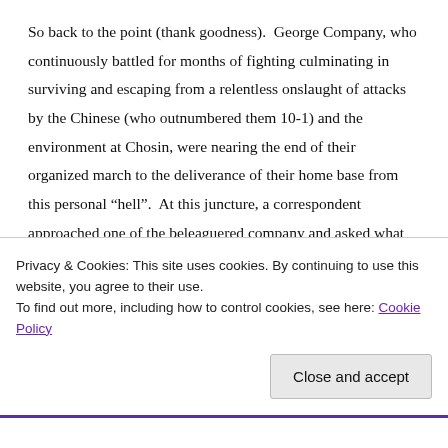So back to the point (thank goodness).  George Company, who continuously battled for months of fighting culminating in surviving and escaping from a relentless onslaught of attacks by the Chinese (who outnumbered them 10-1) and the environment at Chosin, were nearing the end of their organized march to the deliverance of their home base from this personal “hell”.  At this juncture, a correspondent approached one of the beleaguered company and asked what probably sounded like a ridiculous question at the time considering all the Marine had been through.  However his response gave a profound meaning to not just his or his comrade’s
Privacy & Cookies: This site uses cookies. By continuing to use this website, you agree to their use.
To find out more, including how to control cookies, see here: Cookie Policy
Close and accept